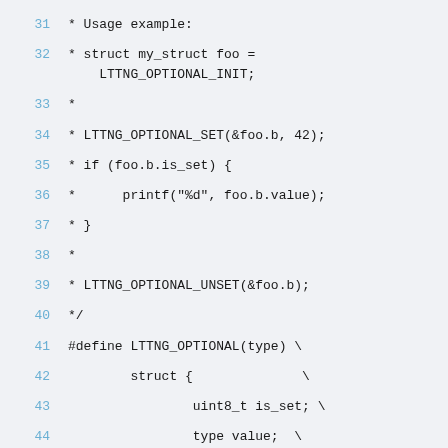31  * Usage example:
32  * struct my_struct foo = LTTNG_OPTIONAL_INIT;
33  *
34  * LTTNG_OPTIONAL_SET(&foo.b, 42);
35  * if (foo.b.is_set) {
36  *      printf("%d", foo.b.value);
37  * }
38  *
39  * LTTNG_OPTIONAL_UNSET(&foo.b);
40  */
41  #define LTTNG_OPTIONAL(type) \
42          struct {              \
43                  uint8_t is_set; \
44                  type value;   \
45          }